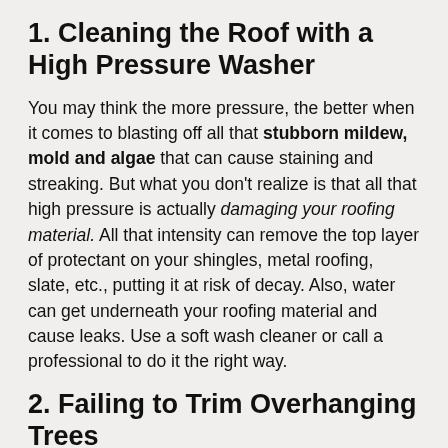1. Cleaning the Roof with a High Pressure Washer
You may think the more pressure, the better when it comes to blasting off all that stubborn mildew, mold and algae that can cause staining and streaking. But what you don't realize is that all that high pressure is actually damaging your roofing material. All that intensity can remove the top layer of protectant on your shingles, metal roofing, slate, etc., putting it at risk of decay. Also, water can get underneath your roofing material and cause leaks. Use a soft wash cleaner or call a professional to do it the right way.
2. Failing to Trim Overhanging Trees
Tree limbs can cause punctures, scrapes and